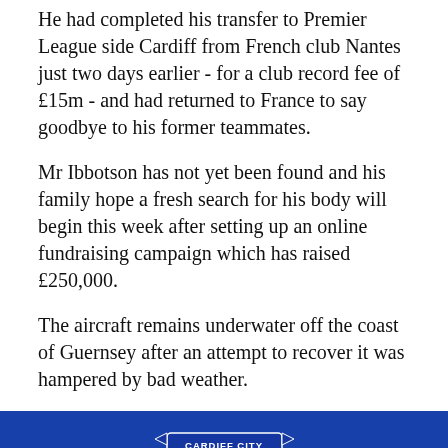He had completed his transfer to Premier League side Cardiff from French club Nantes just two days earlier - for a club record fee of £15m - and had returned to France to say goodbye to his former teammates.
Mr Ibbotson has not yet been found and his family hope a fresh search for his body will begin this week after setting up an online fundraising campaign which has raised £250,000.
The aircraft remains underwater off the coast of Guernsey after an attempt to recover it was hampered by bad weather.
[Figure (photo): Photo of a man (Emiliano Sala) posing in front of the Cardiff City FC crest/logo on a blue background, raising his hands near his head and smiling.]